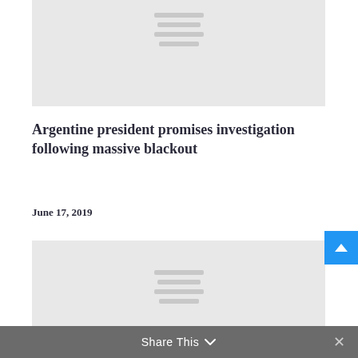[Figure (photo): Top image placeholder with loading lines]
Argentine president promises investigation following massive blackout
June 17, 2019
[Figure (photo): Bottom image placeholder with loading lines]
Share This ∨  ✕